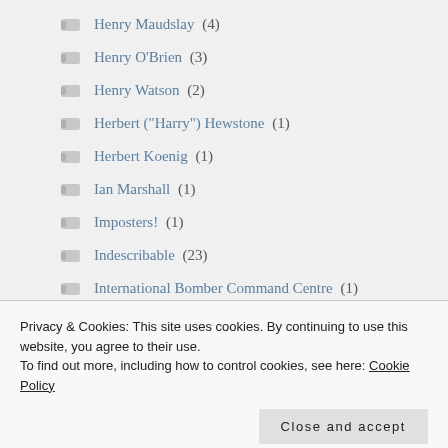Henry Maudslay (4)
Henry O'Brien (3)
Henry Watson (2)
Herbert ("Harry") Hewstone (1)
Herbert Koenig (1)
Ian Marshall (1)
Imposters! (1)
Indescribable (23)
International Bomber Command Centre (1)
Privacy & Cookies: This site uses cookies. By continuing to use this website, you agree to their use.
To find out more, including how to control cookies, see here: Cookie Policy
Close and accept
Jack Buckley (2)